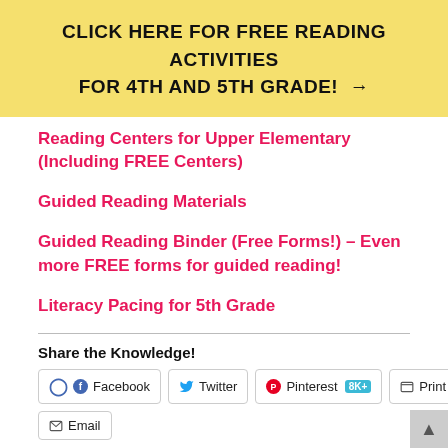CLICK HERE FOR FREE READING ACTIVITIES FOR 4TH AND 5TH GRADE! →
Reading Centers for Upper Elementary (Including FREE Centers)
Guided Reading Materials
Guided Reading Binder (Free Forms!) – Even more FREE forms for guided reading!
Literacy Pacing for 5th Grade
Share the Knowledge!
Facebook | Twitter | Pinterest 8K+ | Print | Email